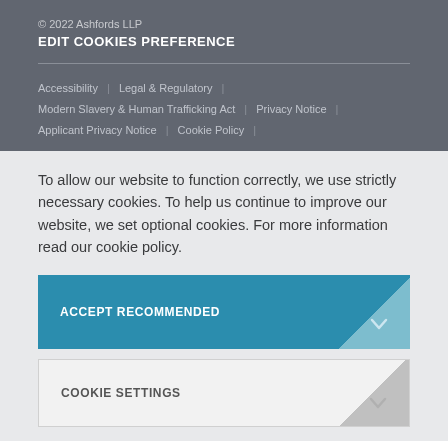© 2022 Ashfords LLP
EDIT COOKIES PREFERENCE
Accessibility  |  Legal & Regulatory  |  Modern Slavery & Human Trafficking Act  |  Privacy Notice  |  Applicant Privacy Notice  |  Cookie Policy  |
To allow our website to function correctly, we use strictly necessary cookies. To help us continue to improve our website, we set optional cookies. For more information read our cookie policy.
ACCEPT RECOMMENDED
COOKIE SETTINGS